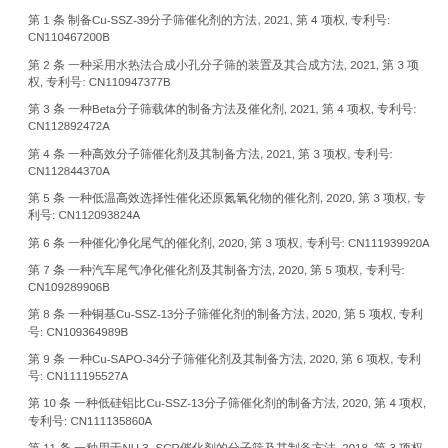第 1 条 制备Cu-SSZ-39分子筛催化剂的方法, 2021, 第 4 项权, 专利号: CN110467200B
第 2 条 一种采用水热法合成小孔分子筛的装置及其合成方法, 2021, 第 3 项权, 专利号: CN110947377B
第 3 条 一种Beta分子筛载体的制备方法及催化剂, 2021, 第 4 项权, 专利号: CN112892472A
第 4 条 一种高效分子筛催化剂及其制备方法, 2021, 第 3 项权, 专利号: CN112844370A
第 5 条 一种低温高效选择性催化还原氮氧化物的催化剂, 2020, 第 3 项权, 专利号: CN112093824A
第 6 条 一种催化净化尾气的催化剂, 2020, 第 3 项权, 专利号: CN111939920A
第 7 条 一种汽车尾气净化催化剂及其制备方法, 2020, 第 5 项权, 专利号: CN109289906B
第 8 条 一种铜基Cu-SSZ-13分子筛催化剂的制备方法, 2020, 第 5 项权, 专利号: CN109364989B
第 9 条 一种Cu-SAPO-34分子筛催化剂及其制备方法, 2020, 第 6 项权, 专利号: CN111195527A
第 10 条 一种低硅铝比Cu-SSZ-13分子筛催化剂的制备方法, 2020, 第 4 项权, 专利号: CN111135860A
第 11 条 一种用于NH 3 -SCR催化剂的分子筛及其制备方法, 2018, 第 3 项权, 专利号: CN108097301A